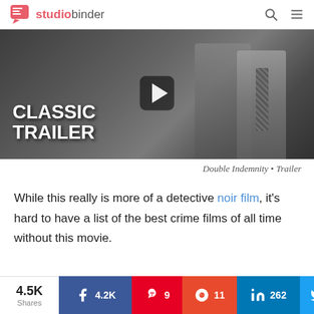studiobinder
[Figure (screenshot): Black and white film still showing a woman and a man in a suit and tie. Overlaid text reads 'CLASSIC TRAILER' in bold white. A YouTube-style play button is visible in the center.]
Double Indemnity • Trailer
While this really is more of a detective noir film, it's hard to have a list of the best crime films of all time without this movie.
4.5K Shares | Facebook: 4.2K | Pinterest: 9 | Reddit: 11 | LinkedIn: 262 | Twitter: 0